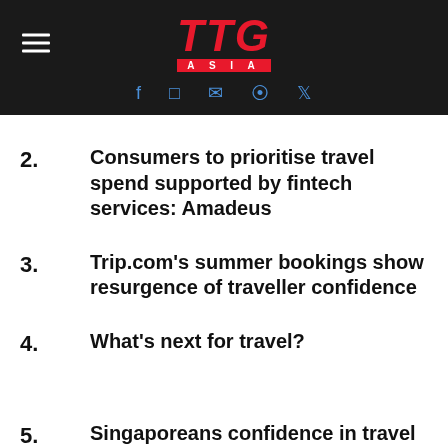TTG Asia
2. Consumers to prioritise travel spend supported by fintech services: Amadeus
3. Trip.com's summer bookings show resurgence of traveller confidence
4. What's next for travel?
5. Singaporeans confidence in travel